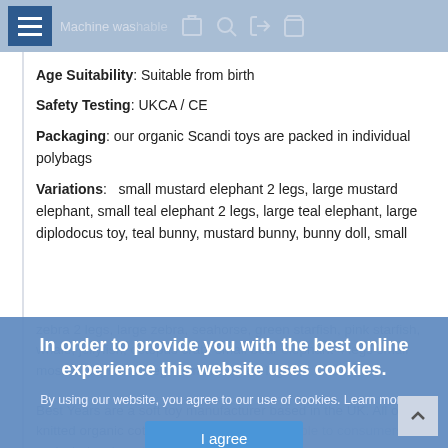Colour: mustard | Machine washable
Age Suitability: Suitable from birth
Safety Testing: UKCA / CE
Packaging: our organic Scandi toys are packed in individual polybags
Variations:    small mustard elephant 2 legs, large mustard elephant, small teal elephant 2 legs, large teal elephant, large diplodocus toy, teal bunny, mustard bunny, bunny doll, small zebra 2 legs, large zebra, seahorse, green starfish, pink starfish, whale, jellyfish, octopus crab, small bear elephant 4 legs, small mosaic elephant 4 legs, small zebra 4 legs
Best Years are a soft toy manufacturer based in the UK. All our knitted organic cotton Scandi toys are available to consumers, and wholesale, retailers and museum customers.
In order to provide you with the best online experience this website uses cookies. By using our website, you agree to our use of cookies. Learn more
I agree